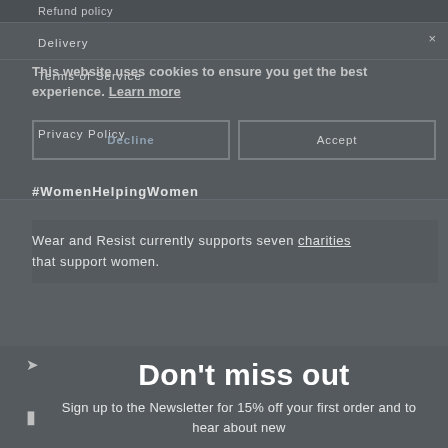Refund policy
Delivery
Terms of Service
This website uses cookies to ensure you get the best experience. Learn more
Privacy Policy
Decline
Accept
#WomenHelpingWomen
Wear and Resist currently supports seven charities that support women.
Don't miss out
Sign up to the Newsletter for 15% off your first order and to hear about new